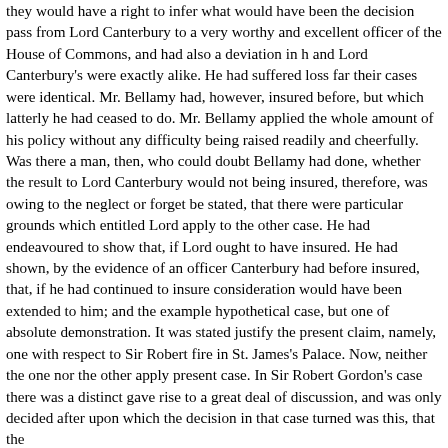they would have a right to infer what would have been the decision pass from Lord Canterbury to a very worthy and excellent officer of the House of Commons, and had also a deviation in and Lord Canterbury's were exactly alike. He had suffered loss far their cases were identical. Mr. Bellamy had, however, insured before, but which latterly he had ceased to do. Mr. Bellamy applied the whole amount of his policy without any difficulty being raised readily and cheerfully. Was there a man, then, who could doubt Bellamy had done, whether the result to Lord Canterbury would not being insured, therefore, was owing to the neglect or forge be stated, that there were particular grounds which entitled Lord apply to the other case. He had endeavoured to show that, if L ought to have insured. He had shown, by the evidence of an o Canterbury had before insured, that, if he had continued to ins consideration would have been extended to him; and the exam hypothetical case, but one of absolute demonstration. It was st justify the present claim, namely, one with respect to Sir Rober fire in St. James's Palace. Now, neither the one nor the other a present case. In Sir Robert Gordon's case there was a distinct gave rise to a great deal of discussion, and was only decided a upon which the decision in that case turned was this, that the